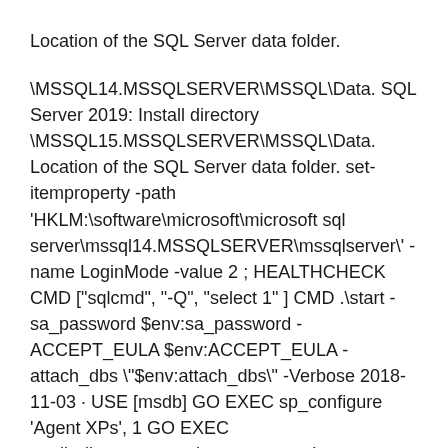Location of the SQL Server data folder.
\MSSQL14.MSSQLSERVER\MSSQL\Data. SQL Server 2019: Install directory \MSSQL15.MSSQLSERVER\MSSQL\Data. Location of the SQL Server data folder. set-itemproperty -path 'HKLM:\software\microsoft\microsoft sql server\mssql14.MSSQLSERVER\mssqlserver\' -name LoginMode -value 2 ; HEALTHCHECK CMD ["sqlcmd", "-Q", "select 1" ] CMD .\start -sa_password $env:sa_password -ACCEPT_EULA $env:ACCEPT_EULA -attach_dbs \"$env:attach_dbs\" -Verbose 2018-11-03 · USE [msdb] GO EXEC sp_configure 'Agent XPs', 1 GO EXEC msdb.dbo.sp_set_sqlagent_properties